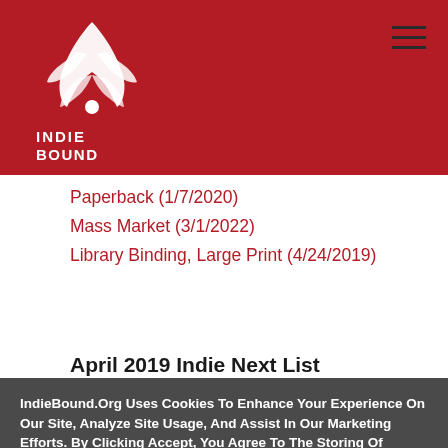[Figure (logo): IndieBound logo — stylized bird/feather graphic in white on dark red background, with 'INDIE BOUND' text below]
IndieBound navigation header with hamburger menu icon
Paperback (1/7/2020)
Mass Market (3/1/2022)
Library Binding, Large Print (4/24/2019)
April 2019 Indie Next List
IndieBound.Org Uses Cookies To Enhance Your Experience On Our Site, Analyze Site Usage, And Assist In Our Marketing Efforts. By Clicking Accept, You Agree To The Storing Of Cookies On Your Device. View Our Cookie Policy.
Give me more info
Accept all Cookies